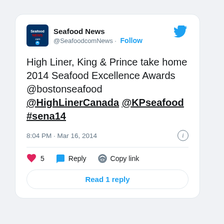[Figure (screenshot): Twitter/X logo bird icon in blue, top right of tweet card]
Seafood News @SeafoodcomNews · Follow
High Liner, King & Prince take home 2014 Seafood Excellence Awards @bostonseafood @HighLinerCanada @KPseafood #sena14
8:04 PM · Mar 16, 2014
❤ 5   Reply   Copy link
Read 1 reply